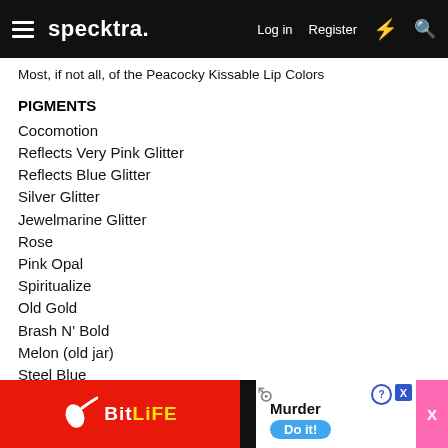specktra. Log in Register
Most, if not all, of the Peacocky Kissable Lip Colors
PIGMENTS
Cocomotion
Reflects Very Pink Glitter
Reflects Blue Glitter
Silver Glitter
Jewelmarine Glitter
Rose
Pink Opal
Spiritualize
Old Gold
Brash N' Bold
Melon (old jar)
Steel Blue
Teal (new jar)
Antique Green
Circa Pl[um]
Violet (o[ld jar])
[Figure (screenshot): Advertisement overlay: BitLife and Murder game ads]